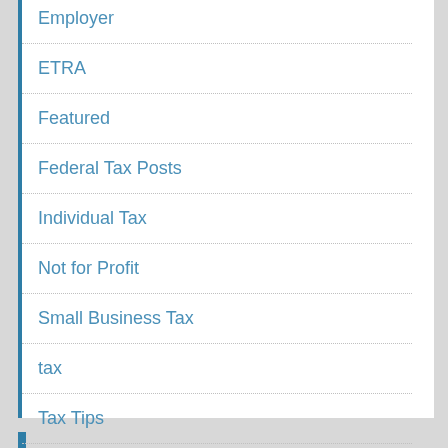Employer
ETRA
Featured
Federal Tax Posts
Individual Tax
Not for Profit
Small Business Tax
tax
Tax Tips